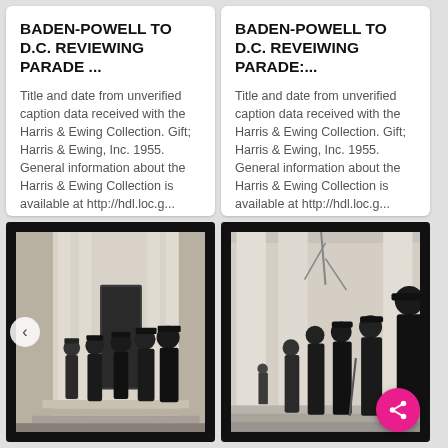BADEN-POWELL TO D.C. REVIEWING PARADE ...
Title and date from unverified caption data received with the Harris & Ewing Collection. Gift; Harris & Ewing, Inc. 1955. General information about the Harris & Ewing Collection is available at http://hdl.loc.g... More
BADEN-POWELL TO D.C. REVEIWING PARADE:...
Title and date from unverified caption data received with the Harris & Ewing Collection. Gift; Harris & Ewing, Inc. 1955. General information about the Harris & Ewing Collection is available at http://hdl.loc.g... More
[Figure (photo): Black and white photograph with film negative black borders showing a group of men in dark overcoats and hats gathered at the entrance of a building with white columns, appearing to be greeting or conversing.]
[Figure (photo): Black and white photograph with film negative black borders showing several men in dark overcoats and top hats standing on steps next to large white columns of an official building, appearing to review something.]